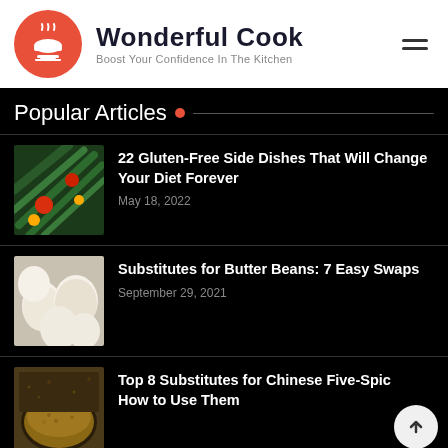[Figure (logo): Wonderful Cook website header with orange circle logo containing a steaming bowl icon, site title 'Wonderful Cook', tagline 'Boost Your Confidence In The Kitchen', and hamburger menu icon]
Popular Articles
[Figure (photo): Green beans and cherry tomatoes food photo thumbnail]
22 Gluten-Free Side Dishes That Will Change Your Diet Forever
May 18, 2022
[Figure (photo): White eggs food photo thumbnail]
Substitutes for Butter Beans: 7 Easy Swaps
September 29, 2021
[Figure (photo): Ground spice in bowl food photo thumbnail]
Top 8 Substitutes for Chinese Five-Spice and How to Use Them